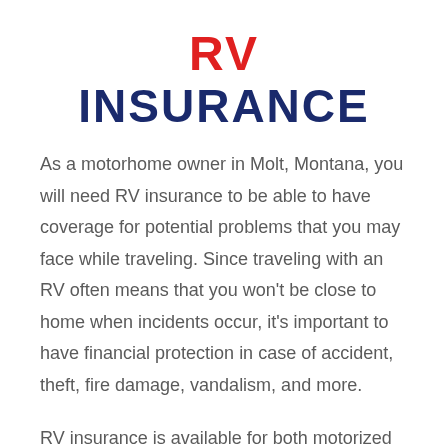RV INSURANCE
As a motorhome owner in Molt, Montana, you will need RV insurance to be able to have coverage for potential problems that you may face while traveling. Since traveling with an RV often means that you won't be close to home when incidents occur, it's important to have financial protection in case of accident, theft, fire damage, vandalism, and more.
RV insurance is available for both motorized and towable RVs. Depending on your specific plan and the state you're in, you can have access to contents